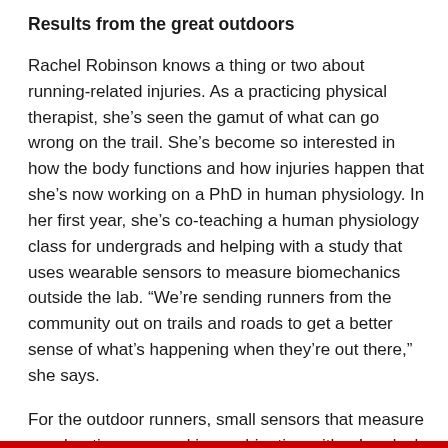Results from the great outdoors
Rachel Robinson knows a thing or two about running-related injuries. As a practicing physical therapist, she’s seen the gamut of what can go wrong on the trail. She’s become so interested in how the body functions and how injuries happen that she’s now working on a PhD in human physiology. In her first year, she’s co-teaching a human physiology class for undergrads and helping with a study that uses wearable sensors to measure biomechanics outside the lab. “We’re sending runners from the community out on trails and roads to get a better sense of what’s happening when they’re out there,” she says.
For the outdoor runners, small sensors that measure acceleration are used in combination with a Loadsol (a very small version of a force platform), which goes in between the sock and sock liner inside an athletic shoe. Another